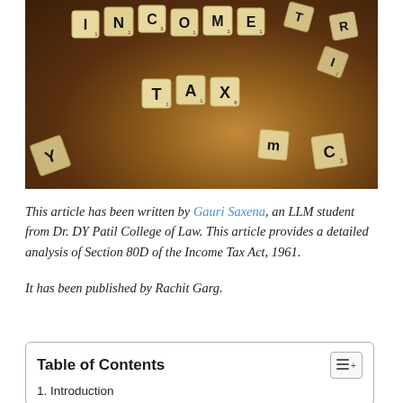[Figure (photo): Scrabble tiles arranged on a wooden surface spelling 'INCOME TAX' with other scattered tiles around them.]
This article has been written by Gauri Saxena, an LLM student from Dr. DY Patil College of Law. This article provides a detailed analysis of Section 80D of the Income Tax Act, 1961.
It has been published by Rachit Garg.
Table of Contents
1. Introduction